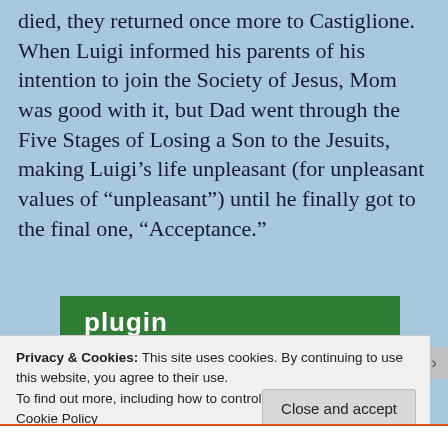died, they returned once more to Castiglione. When Luigi informed his parents of his intention to join the Society of Jesus, Mom was good with it, but Dad went through the Five Stages of Losing a Son to the Jesuits, making Luigi’s life unpleasant (for unpleasant values of “unpleasant”) until he finally got to the final one, “Acceptance.”
[Figure (screenshot): Green plugin bar with white bold text reading 'plugin']
Privacy & Cookies: This site uses cookies. By continuing to use this website, you agree to their use.
To find out more, including how to control cookies, see here: Cookie Policy